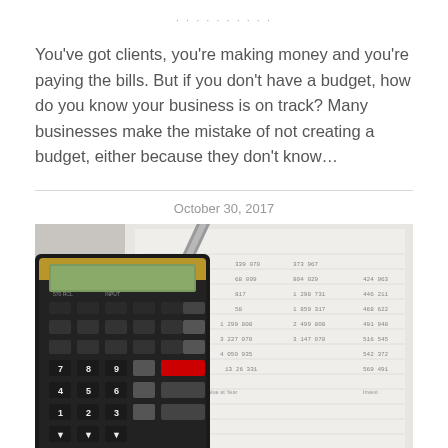· · · · · · · · · ·
You've got clients, you're making money and you're paying the bills. But if you don't have a budget, how do you know your business is on track? Many businesses make the mistake of not creating a budget, either because they don't know…
October 30, 2017
[Figure (photo): Close-up photo of a calculator and financial documents with a pen, showing rows of numbers typical of a financial statement or budget spreadsheet]